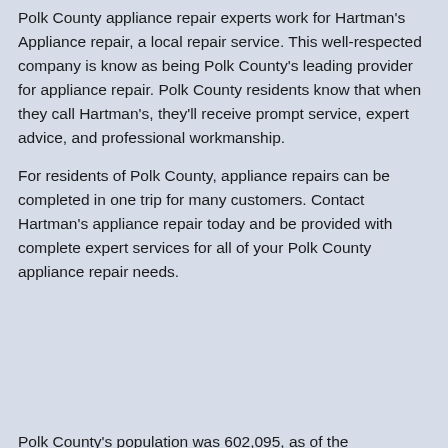Polk County appliance repair experts work for Hartman's Appliance repair, a local repair service. This well-respected company is know as being Polk County's leading provider for appliance repair. Polk County residents know that when they call Hartman's, they'll receive prompt service, expert advice, and professional workmanship.
For residents of Polk County, appliance repairs can be completed in one trip for many customers. Contact Hartman's appliance repair today and be provided with complete expert services for all of your Polk County appliance repair needs.
[Figure (screenshot): Google Rating widget showing 4.7 stars based on 475 reviews, with Google 'G' logo, overlaid on a blue banner partially showing 'olk Cou' text. A scroll-up button and orange chat button are also visible.]
Polk County's population was 602,095, as of the